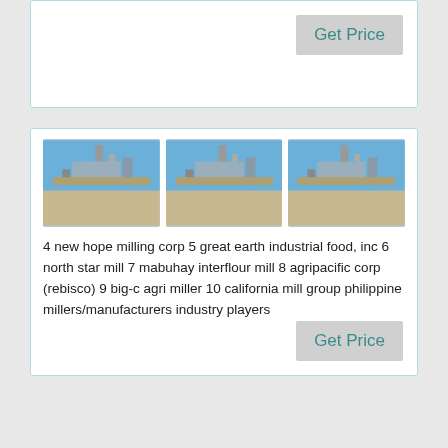[Figure (photo): Partial top card with Get Price button visible]
Get Price
[Figure (photo): Three industrial milling facility photos side by side]
The Philippine Milling Industry
4 new hope milling corp 5 great earth industrial food, inc 6 north star mill 7 mabuhay interflour mill 8 agripacific corp (rebisco) 9 big-c agri miller 10 california mill group philippine millers/manufacturers industry players
Get Price
[Figure (photo): Partial bottom card with industrial images partially visible]